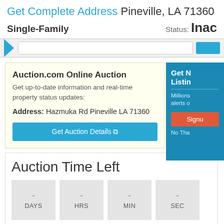Get Complete Address Pineville, LA 71360
Single-Family   Status: Inac
[Figure (screenshot): Navigation bar with arrow icon, search input, and teal button]
Auction.com Online Auction
Get up-to-date information and real-time property status updates:
Address: Hazmuka Rd Pineville LA 71360
Get Auction Details
Get N
Listin
Millions
alerts o
Signu
No Tha
Auction Time Left
- DAYS   - HRS   - MIN   - SEC
The countdown is usually accuarate but not exact. To be safe, place bids 2 hours before the bidding ends.